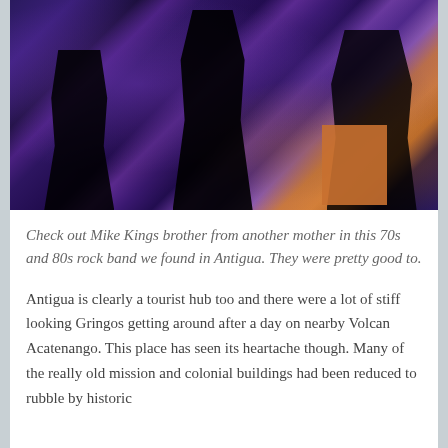[Figure (photo): A dark concert/bar scene with multiple musicians on stage under purple and blue lighting. Silhouetted figures of band members are visible. An orange amplifier is visible on the right side of the stage.]
Check out Mike Kings brother from another mother in this 70s and 80s rock band we found in Antigua. They were pretty good to.
Antigua is clearly a tourist hub too and there were a lot of stiff looking Gringos getting around after a day on nearby Volcan Acatenango. This place has seen its heartache though. Many of the really old mission and colonial buildings had been reduced to rubble by historic